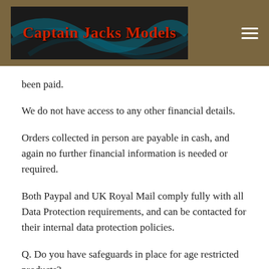Captain Jacks Models
been paid.
We do not have access to any other financial details.
Orders collected in person are payable in cash, and again no further financial information is needed or required.
Both Paypal and UK Royal Mail comply fully with all Data Protection requirements, and can be contacted for their internal data protection policies.
Q. Do you have safeguards in place for age restricted products?